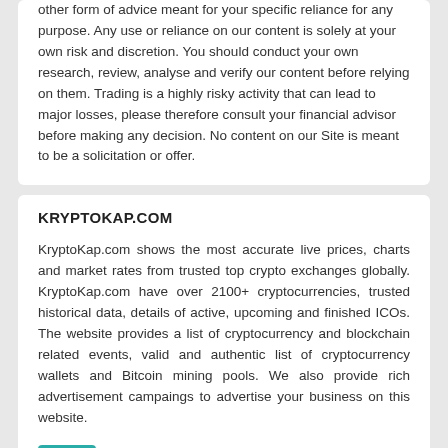other form of advice meant for your specific reliance for any purpose. Any use or reliance on our content is solely at your own risk and discretion. You should conduct your own research, review, analyse and verify our content before relying on them. Trading is a highly risky activity that can lead to major losses, please therefore consult your financial advisor before making any decision. No content on our Site is meant to be a solicitation or offer.
KRYPTOKAP.COM
KryptoKap.com shows the most accurate live prices, charts and market rates from trusted top crypto exchanges globally. KryptoKap.com have over 2100+ cryptocurrencies, trusted historical data, details of active, upcoming and finished ICOs. The website provides a list of cryptocurrency and blockchain related events, valid and authentic list of cryptocurrency wallets and Bitcoin mining pools. We also provide rich advertisement campaings to advertise your business on this website.
Coins Live Watch